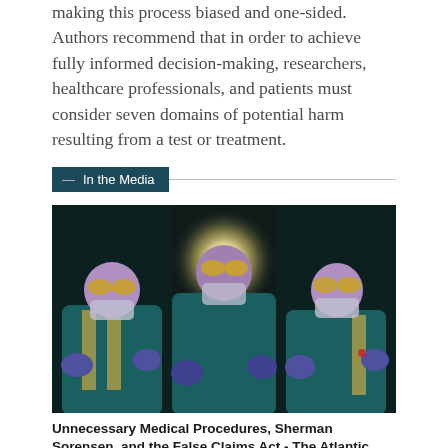making this process biased and one-sided. Authors recommend that in order to achieve fully informed decision-making, researchers, healthcare professionals, and patients must consider seven domains of potential harm resulting from a test or treatment.
In the Media
[Figure (illustration): Stylized illustration of three medical professionals in surgical scrubs and goggles, with a bright glowing light behind the central figure, rendered in a purple, teal, and gold color palette.]
Unnecessary Medical Procedures, Sherman Sorensen, and the False Claims Act - The Atlantic